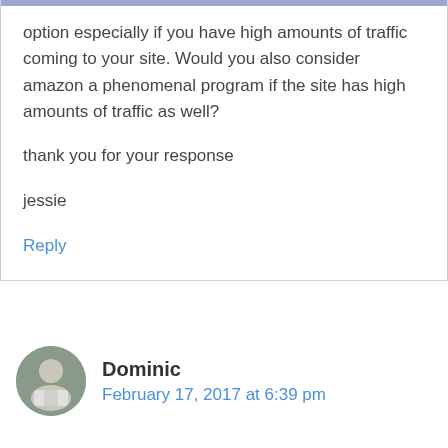option especially if you have high amounts of traffic coming to your site. Would you also consider amazon a phenomenal program if the site has high amounts of traffic as well?

thank you for your response

jessie
Reply
Dominic
February 17, 2017 at 6:39 pm